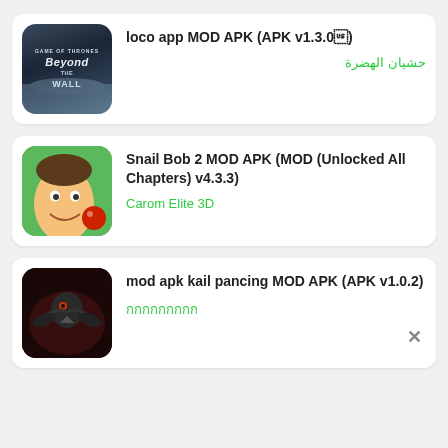[Figure (screenshot): App listing card 1: Game of Thrones Beyond the Wall game icon (dark blue icy landscape with title text), app name 'loco app MOD APK (APK v1.3.0)', subtitle in Arabic green text]
loco app MOD APK (APK v1.3.0)
حشيان الهضرة
[Figure (screenshot): App listing card 2: Snail Bob 2 / Carom Elite 3D icon (man's face on green background with red ball), app name 'Snail Bob 2 MOD APK (MOD (Unlocked All Chapters) v4.3.3)', subtitle 'Carom Elite 3D' in green]
Snail Bob 2 MOD APK (MOD (Unlocked All Chapters) v4.3.3)
Carom Elite 3D
[Figure (screenshot): App listing card 3: dark raven/bird icon on dark background, app name 'mod apk kail pancing MOD APK (APK v1.0.2)', subtitle in green symbols]
mod apk kail pancing MOD APK (APK v1.0.2)
กกกกกกกกก